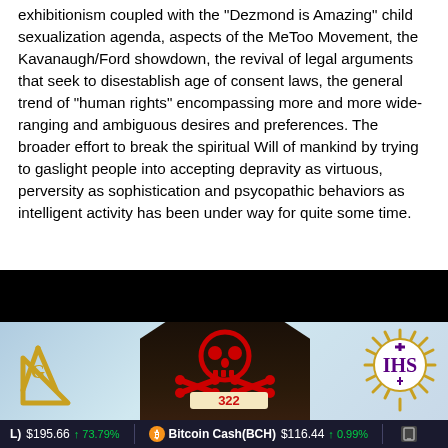exhibitionism coupled with the "Dezmond is Amazing" child sexualization agenda, aspects of the MeToo Movement, the Kavanaugh/Ford showdown, the revival of legal arguments that seek to disestablish age of consent laws, the general trend of "human rights" encompassing more and more wide-ranging and ambiguous desires and preferences. The broader effort to break the spiritual Will of mankind by trying to gaslight people into accepting depravity as virtuous, perversity as sophistication and psycopathic behaviors as intelligent activity has been under way for quite some time.
[Figure (illustration): Composite image with black bar at top, showing a dark wooden altar/coffin shape in center with a red skull and crossbones and the number 322, flanked by a gold Masonic square and compass symbol on the left and a gold IHS sun symbol with cross on the right, on a blue/grey background.]
L) $195.66 ↑ 73.79%   Bitcoin Cash(BCH) $116.44 ↑ 0.99%